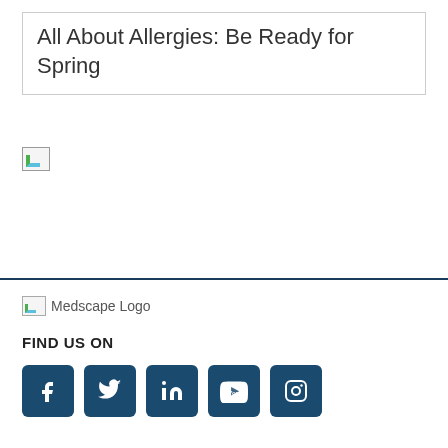All About Allergies: Be Ready for Spring
[Figure (photo): Broken/unloaded image placeholder thumbnail]
[Figure (logo): Medscape Logo (broken image placeholder with alt text 'Medscape Logo')]
FIND US ON
[Figure (infographic): Social media icon buttons: Facebook, Twitter, LinkedIn, YouTube, Instagram]